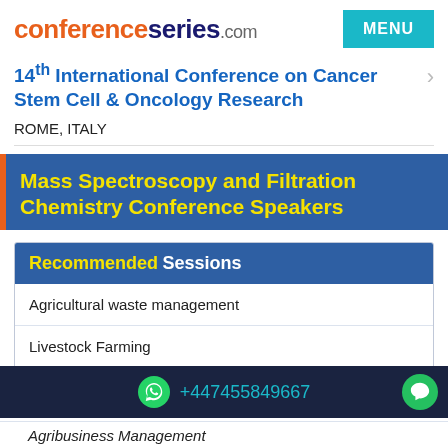conferenceseries.com
14th International Conference on Cancer Stem Cell & Oncology Research
ROME, ITALY
Mass Spectroscopy and Filtration Chemistry Conference Speakers
Recommended Sessions
Agricultural waste management
Livestock Farming
Bio-fertilizers
+447455849667
Agribusiness Management